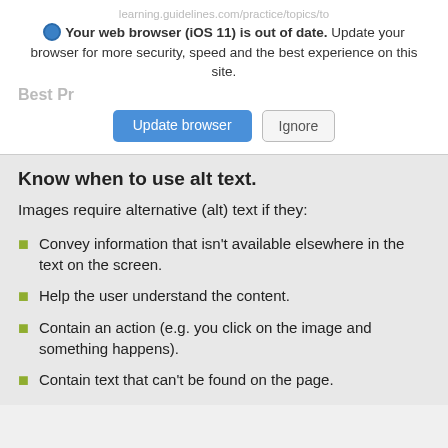Your web browser (iOS 11) is out of date. Update your browser for more security, speed and the best experience on this site.
[Figure (screenshot): Browser update banner with 'Update browser' blue button and 'Ignore' grey button]
Know when to use alt text.
Images require alternative (alt) text if they:
Convey information that isn't available elsewhere in the text on the screen.
Help the user understand the content.
Contain an action (e.g. you click on the image and something happens).
Contain text that can't be found on the page.